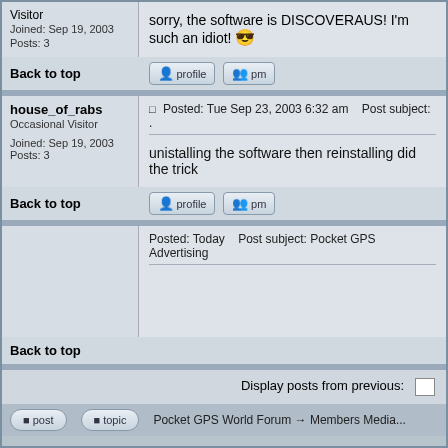Visitor
Joined: Sep 19, 2003
Posts: 3
sorry, the software is DISCOVERAUS! I'm such an idiot!
Back to top
house_of_rabs
Occasional Visitor
Joined: Sep 19, 2003
Posts: 3
Posted: Tue Sep 23, 2003 6:32 am   Post subject: .
unistalling the software then reinstalling did the trick
Back to top
Posted: Today   Post subject: Pocket GPS Advertising
Back to top
Display posts from previous: